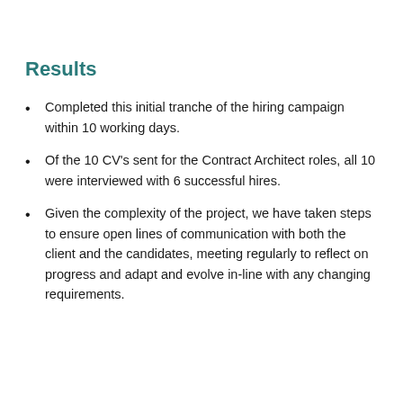Results
Completed this initial tranche of the hiring campaign within 10 working days.
Of the 10 CV’s sent for the Contract Architect roles, all 10 were interviewed with 6 successful hires.
Given the complexity of the project, we have taken steps to ensure open lines of communication with both the client and the candidates, meeting regularly to reflect on progress and adapt and evolve in-line with any changing requirements.